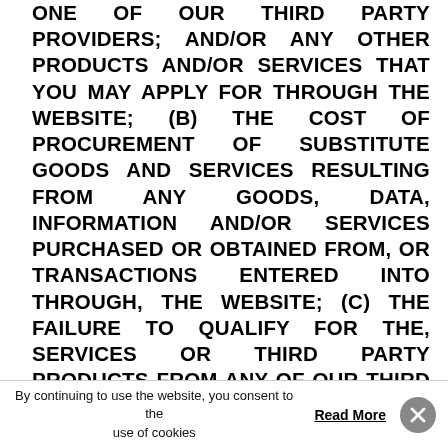ONE OF OUR THIRD PARTY PROVIDERS; AND/OR ANY OTHER PRODUCTS AND/OR SERVICES THAT YOU MAY APPLY FOR THROUGH THE WEBSITE; (B) THE COST OF PROCUREMENT OF SUBSTITUTE GOODS AND SERVICES RESULTING FROM ANY GOODS, DATA, INFORMATION AND/OR SERVICES PURCHASED OR OBTAINED FROM, OR TRANSACTIONS ENTERED INTO THROUGH, THE WEBSITE; (C) THE FAILURE TO QUALIFY FOR THE, SERVICES OR THIRD PARTY PRODUCTS FROM ANY OF OUR THIRD PARTY PROVIDERS, OR ANY SUBSEQUENT DENIAL OF THIRD PARTY PRODUCTS FROM SAME; (D) THE UNAUTHORIZED ACCESS TO, OR ALTERATION OF, YOUR REGISTRATION DATA; AND (E) ANY OTHER MATTER RELATING TO THE INABILITY TO USE THE WEBSITE, SERVICES, CONTENT, ANY THIRD PARTY PRODUCTS THAT YOU
By continuing to use the website, you consent to the use of cookies